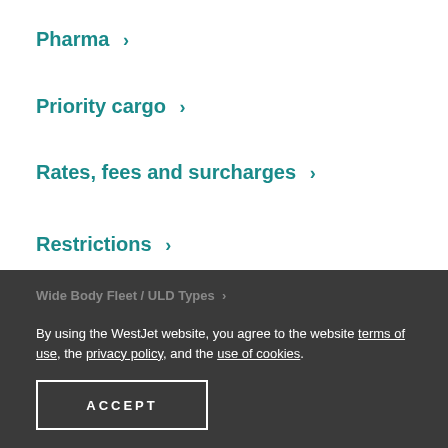Pharma >
Priority cargo >
Rates, fees and surcharges >
Restrictions >
Tender and retrieval times >
Where we ship >
Wide Body Fleet / ULD Types >
By using the WestJet website, you agree to the website terms of use, the privacy policy, and the use of cookies.
ACCEPT